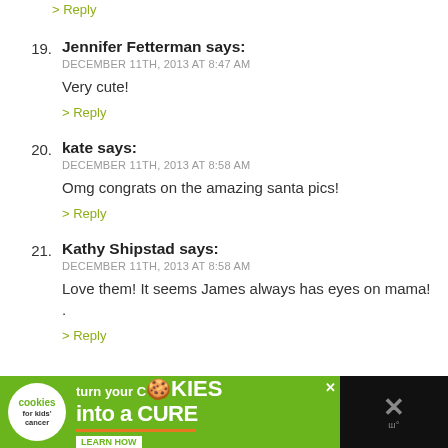> Reply
19. Jennifer Fetterman says:
DECEMBER 11TH, 2013 AT 8:47 AM
Very cute!
> Reply
20. kate says:
DECEMBER 11TH, 2013 AT 8:58 AM
Omg congrats on the amazing santa pics!
> Reply
21. Kathy Shipstad says:
DECEMBER 11TH, 2013 AT 8:58 AM
Love them! It seems James always has eyes on mama! .
> Reply
[Figure (infographic): Advertisement banner for 'Cookies for Kids Cancer' with text 'turn your COOKIES into a CURE LEARN HOW' on a green background with a black strip on the right showing an X mute button.]